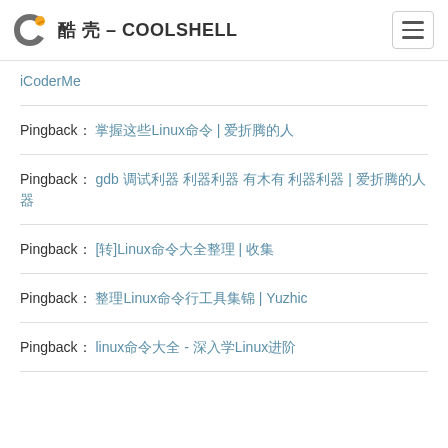酷 壳 – COOLSHELL
iCoderMe
Pingback： 掌握这些Linux命令 | 爱折腾的人
Pingback： gdb 调试利器 利器利器 有木有 利器利器 | 爱折腾的人
Pingback： [转]Linux命令大全整理 | 收集
Pingback： 整理Linux命令行工具集锦 | Yuzhic
Pingback： linux命令大全 - 深入学Linux进阶